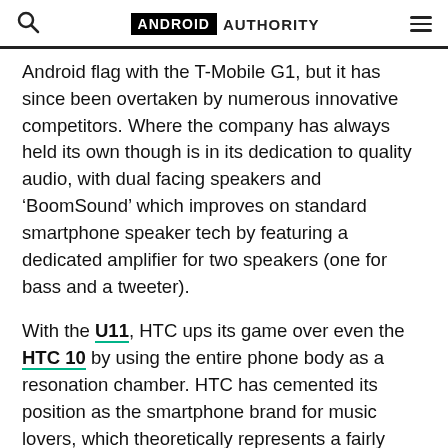ANDROID AUTHORITY
Android flag with the T-Mobile G1, but it has since been overtaken by numerous innovative competitors. Where the company has always held its own though is in its dedication to quality audio, with dual facing speakers and ‘BoomSound’ which improves on standard smartphone speaker tech by featuring a dedicated amplifier for two speakers (one for bass and a tweeter).
With the U11, HTC ups its game over even the HTC 10 by using the entire phone body as a resonation chamber. HTC has cemented its position as the smartphone brand for music lovers, which theoretically represents a fairly sizeable chunk of the smartphone market. (The LG G6 does